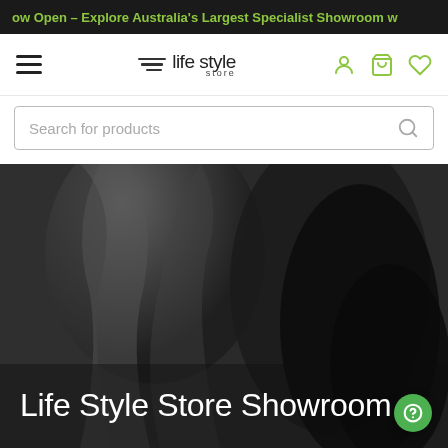ow Open – Explore Australia's Largest Specialist Showroom w
[Figure (logo): Life Style Store logo with three diagonal lines and text 'life style store']
Search for products
Life Style Store Showroom